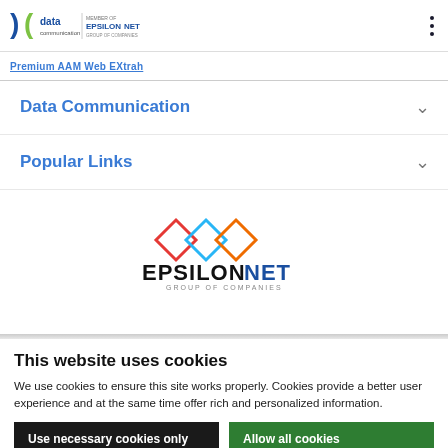[Figure (logo): Data Communication member of EpsilonNet logo in the header]
Premium AAM Web EXtrah
Data Communication
Popular Links
[Figure (logo): EpsilonNet Group of Companies logo with three interlocked diamond shapes in red, blue, and orange]
This website uses cookies
We use cookies to ensure this site works properly. Cookies provide a better user experience and at the same time offer rich and personalized information.
Use necessary cookies only
Allow all cookies
Learn More